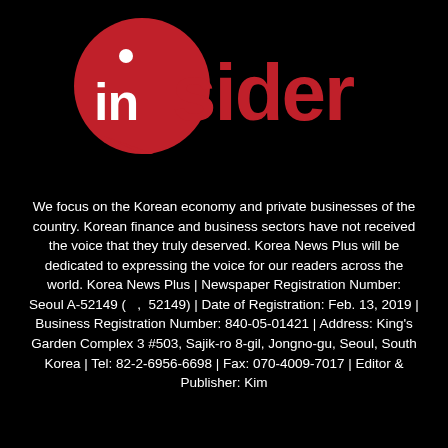[Figure (logo): Insider logo: red speech-bubble circle with white dot, overlapping red lowercase text 'insider']
We focus on the Korean economy and private businesses of the country. Korean finance and business sectors have not received the voice that they truly deserved. Korea News Plus will be dedicated to expressing the voice for our readers across the world. Korea News Plus | Newspaper Registration Number: Seoul A-52149 (   ,  52149) | Date of Registration: Feb. 13, 2019 | Business Registration Number: 840-05-01421 | Address: King's Garden Complex 3 #503, Sajik-ro 8-gil, Jongno-gu, Seoul, South Korea | Tel: 82-2-6956-6698 | Fax: 070-4009-7017 | Editor & Publisher: Kim